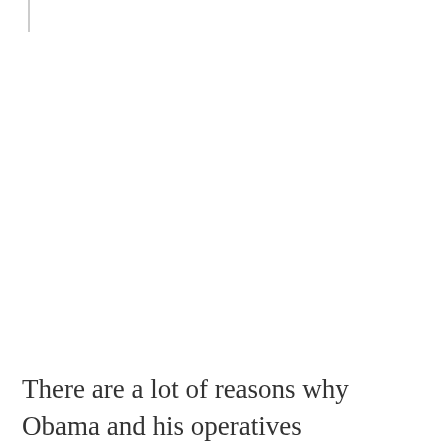There are a lot of reasons why Obama and his operatives